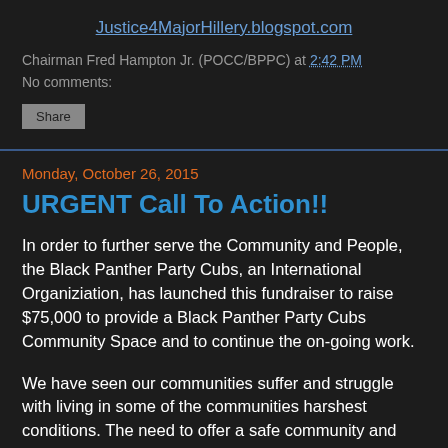Justice4MajorHillery.blogspot.com
Chairman Fred Hampton Jr. (POCC/BPPC) at 2:42 PM
No comments:
Share
Monday, October 26, 2015
URGENT Call To Action!!
In order to further serve the Community and People, the Black Panther Party Cubs, an International Organiziation, has launched this fundraiser to raise $75,000 to provide a Black Panther Party Cubs Community Space and to continue the on-going work.
We have seen our communities suffer and struggle with living in some of the communities harshest conditions. The need to offer a safe community and